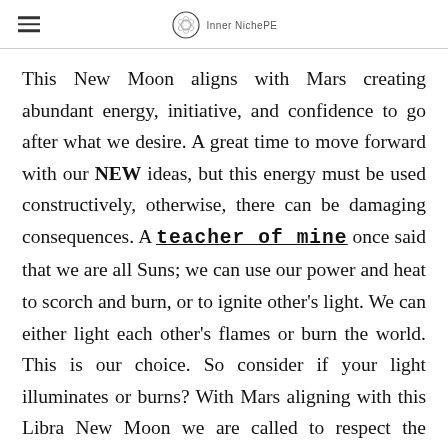Inner NichePE
This New Moon aligns with Mars creating abundant energy, initiative, and confidence to go after what we desire. A great time to move forward with our NEW ideas, but this energy must be used constructively, otherwise, there can be damaging consequences. A teacher of mine once said that we are all Suns; we can use our power and heat to scorch and burn, or to ignite other's light. We can either light each other's flames or burn the world. This is our choice. So consider if your light illuminates or burns? With Mars aligning with this Libra New Moon we are called to respect the strength and potency our inner fire